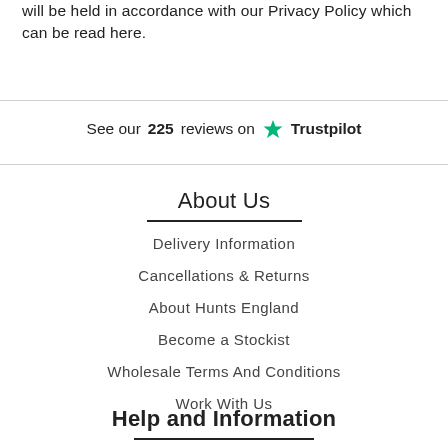will be held in accordance with our Privacy Policy which can be read here.
See our 225 reviews on Trustpilot
About Us
Delivery Information
Cancellations & Returns
About Hunts England
Become a Stockist
Wholesale Terms And Conditions
Work With Us
Help and Information